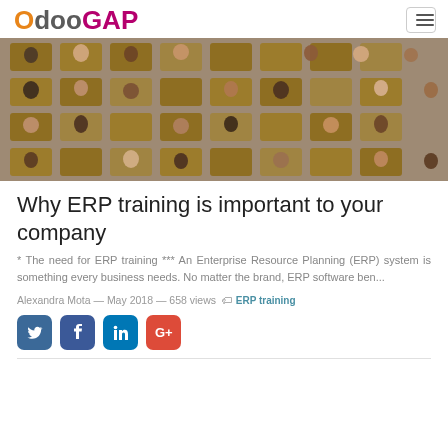OdooGAP
[Figure (photo): Aerial view of people seated in lecture hall / auditorium chairs, viewed from above]
Why ERP training is important to your company
* The need for ERP training *** An Enterprise Resource Planning (ERP) system is something every business needs. No matter the brand, ERP software ben...
Alexandra Mota — May 2018 — 658 views  ERP training
[Figure (other): Social sharing icons: Twitter, Facebook, LinkedIn, Google+]